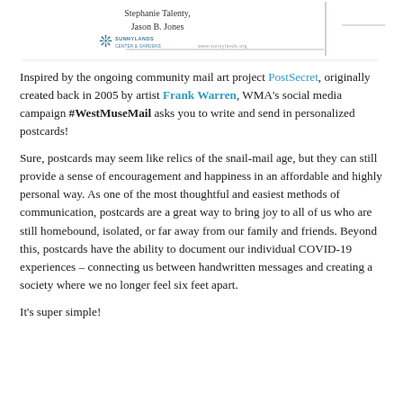[Figure (other): Top portion of a postcard showing handwritten names 'Stephanie Talenty, Jason B. Jones' and a Sunnylands Center & Gardens logo with a website URL, and a horizontal line separator.]
Inspired by the ongoing community mail art project PostSecret, originally created back in 2005 by artist Frank Warren, WMA's social media campaign #WestMuseMail asks you to write and send in personalized postcards!
Sure, postcards may seem like relics of the snail-mail age, but they can still provide a sense of encouragement and happiness in an affordable and highly personal way. As one of the most thoughtful and easiest methods of communication, postcards are a great way to bring joy to all of us who are still homebound, isolated, or far away from our family and friends. Beyond this, postcards have the ability to document our individual COVID-19 experiences – connecting us between handwritten messages and creating a society where we no longer feel six feet apart.
It's super simple!